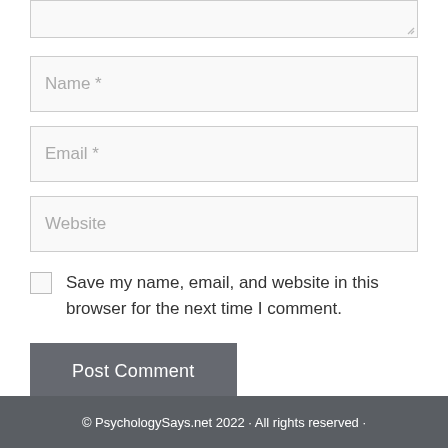[Figure (screenshot): Partial textarea input field (top portion cropped), showing resize handle at bottom-right corner, light gray background, thin border.]
Name *
Email *
Website
Save my name, email, and website in this browser for the next time I comment.
Post Comment
© PsychologySays.net 2022 · All rights reserved ·